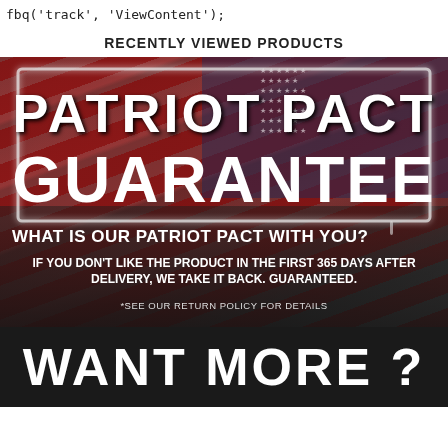fbq('track', 'ViewContent');
RECENTLY VIEWED PRODUCTS
[Figure (illustration): Patriot Pact Guarantee promotional banner with American flag background. Contains spray-paint style text in a framed box reading 'PATRIOT PACT GUARANTEE', followed by the heading 'WHAT IS OUR PATRIOT PACT WITH YOU?' and body text 'IF YOU DON'T LIKE THE PRODUCT IN THE FIRST 365 DAYS AFTER DELIVERY, WE TAKE IT BACK. GUARANTEED.' with footnote '*SEE OUR RETURN POLICY FOR DETAILS']
WANT MORE ?